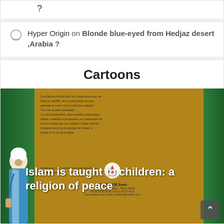?
Hyper Origin on Blonde blue-eyed from Hedjaz desert ,Arabia ?
Cartoons
[Figure (photo): A photo of an Islamic children's book cover published by ESSALAM livres, Paris. Shows illustrated characters including a man in white turban and blue robe. Text overlay reads: 'Islam is taught to children: a religion of peace']